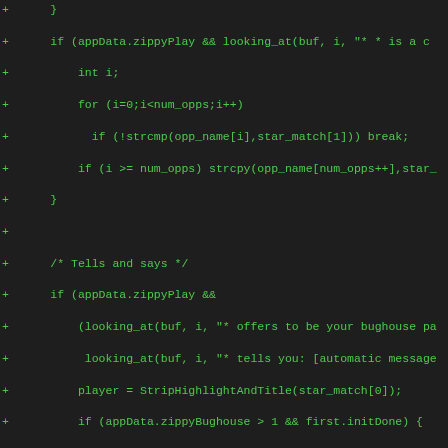[Figure (screenshot): Code diff screenshot showing C source code additions (lines prefixed with '+') on a dark background with green monospace text. The code involves appData.zippyPlay, looking_at buffer checks, opponent name handling, bughouse chess logic with sprintf/SendToICS/SendToProgram calls, and partner/decline/tell branching.]